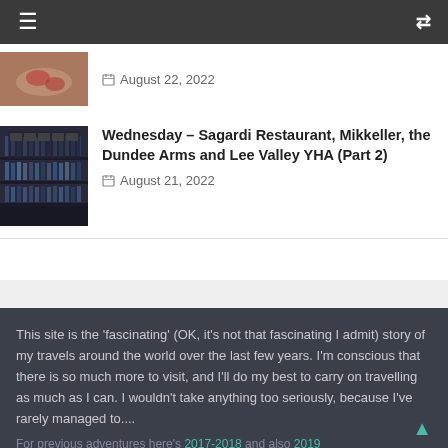≡  [shuffle icon]
[Figure (photo): Partial view of a plate with food, top of page]
August 22, 2022
[Figure (photo): Interior of a bar with shelves of bottles and menus]
Wednesday – Sagardi Restaurant, Mikkeller, the Dundee Arms and Lee Valley YHA (Part 2)
August 21, 2022
This site is the 'fascinating' (OK, it's not that fascinating I admit) story of my travels around the world over the last few years. I'm conscious that there is so much more to visit, and I'll do my best to carry on travelling as much as I can. I wouldn't take anything too seriously, because I've rarely managed to....
For previous adventures here's 2017-2018 and also 2019